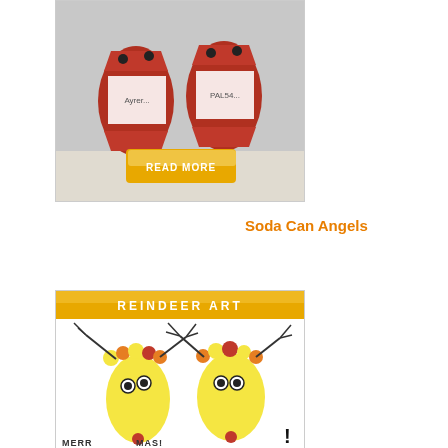[Figure (photo): Photo of two red soda can angel crafts with white paper labels, with a 'READ MORE' yellow button overlay at the bottom]
Soda Can Angels
[Figure (photo): Reindeer art craft image showing yellow footprint reindeer paintings with orange and red toe details on a white background, with 'REINDEER ART' orange header banner and 'MERRY CHRISTMAS' text at bottom]